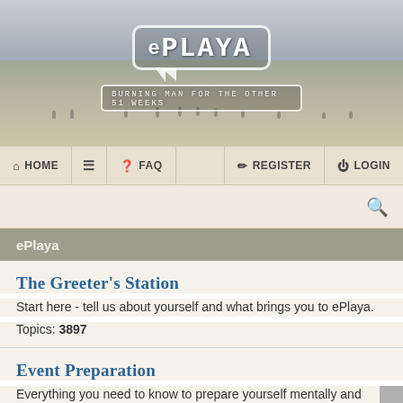[Figure (screenshot): ePlaya website banner with desert/playa background image and speech-bubble logo reading 'ePlaya - Burning Man for the other 51 weeks']
HOME | FAQ | REGISTER | LOGIN
eePlaya
eePlaya
The Greeter's Station
Start here - tell us about yourself and what brings you to ePlaya.
Topics: 3897
Event Preparation
Everything you need to know to prepare yourself mentally and physically